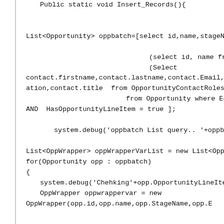Public static void Insert_Records(){

List<Opportunity> oppbatch=[select id,name,stageNa

                (select id, name from OpportunityLin
                (Select
contact.firstname,contact.lastname,contact.Email,cont
ation,contact.title  from OpportunityContactRoles)
                    from Opportunity where Edition__r.na
AND  HasOpportunityLineItem = true ];

        system.debug('oppbatch List query.. '+oppbatch);

List<OppWrapper> oppWrapperVarList = new List<Opp
for(Opportunity opp : oppbatch)
{
 system.debug('Chehking'+opp.OpportunityLineItems)
 OppWrapper oppwrappervar = new
OppWrapper(opp.id,opp.name,opp.StageName,opp.E

                                null, null, null, null, null);